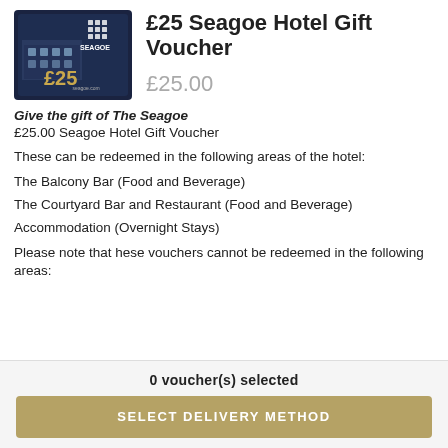[Figure (photo): £25 Seagoe Hotel gift voucher card image showing hotel exterior and £25 text on dark background]
£25 Seagoe Hotel Gift Voucher
£25.00
Give the gift of The Seagoe
£25.00 Seagoe Hotel Gift Voucher
These can be redeemed in the following areas of the hotel:
The Balcony Bar (Food and Beverage)
The Courtyard Bar and Restaurant (Food and Beverage)
Accommodation (Overnight Stays)
Please note that hese vouchers cannot be redeemed in the following areas:
0 voucher(s) selected
SELECT DELIVERY METHOD